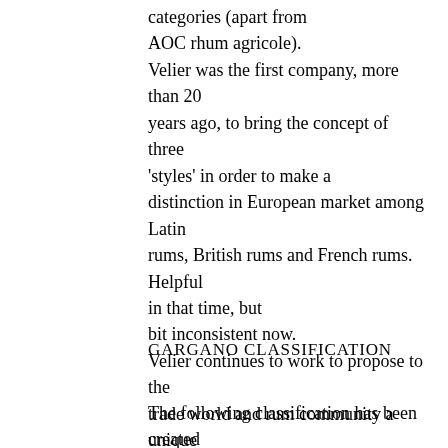categories (apart from AOC rhum agricole). Velier was the first company, more than 20 years ago, to bring the concept of three 'styles' in order to make a distinction in European market among Latin rums, British rums and French rums. Helpful in that time, but bit inconsistent now. Velier continues to work to propose to the trade world and rum community a unique language among different categories. We think that rum's long-term success requires these huge difference brought to light, both among products and among producers.
GARGANO CLASSIFICATION
The following classification has been created by Luca Gargano in 2015 and has created b...